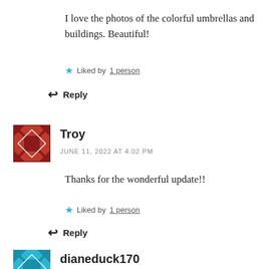I love the photos of the colorful umbrellas and buildings. Beautiful!
★ Liked by 1 person
↩ Reply
[Figure (illustration): Red geometric patterned avatar for user Troy]
Troy
JUNE 11, 2022 AT 4:02 PM
Thanks for the wonderful update!!
★ Liked by 1 person
↩ Reply
[Figure (illustration): Cyan geometric patterned avatar for user dianeduck170]
dianeduck170